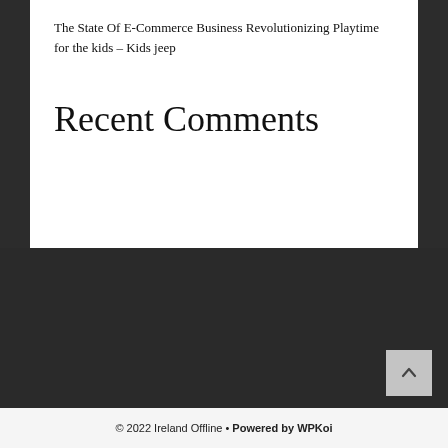The State Of E-Commerce Business Revolutionizing Playtime for the kids – Kids jeep
Recent Comments
© 2022 Ireland Offline • Powered by WPKoi